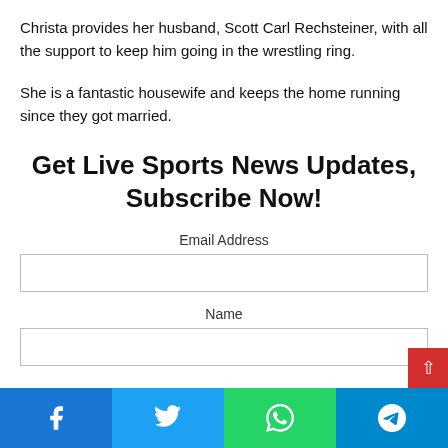Christa provides her husband, Scott Carl Rechsteiner, with all the support to keep him going in the wrestling ring.
She is a fantastic housewife and keeps the home running since they got married.
Get Live Sports News Updates, Subscribe Now!
Email Address
Name